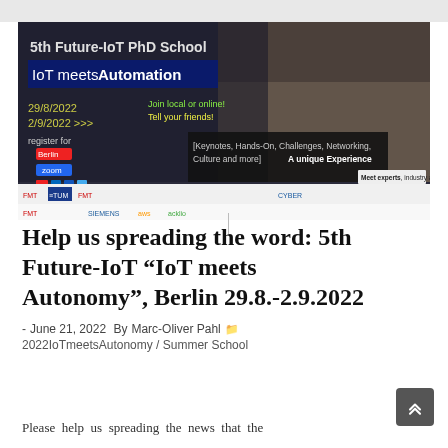[Figure (photo): 5th Future-IoT PhD School promotional banner: 'IoT meets Automation', dates 29/8/2022–2/9/2022, with logos of sponsors/partners, group photo of participants wearing masks, registration links for Berlin and Zoom, social media handles @TheFutureIoT, URL https://school.future-iot.org/]
Help us spreading the word: 5th Future-IoT “IoT meets Autonomy”, Berlin 29.8.-2.9.2022
- June 21, 2022  By Marc-Oliver Pahl  📁
2022IoTmeetsAutonomy / Summer School
Please help us spreading the news that the